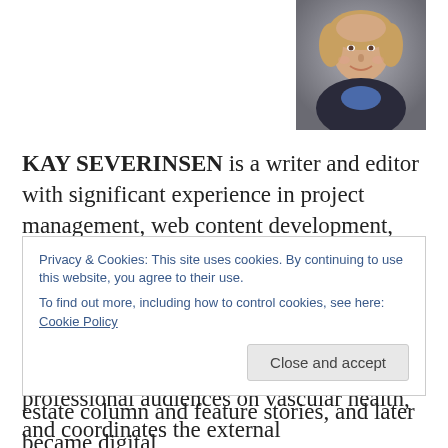[Figure (photo): Headshot photo of Kay Severinsen, a woman with blonde hair wearing a dark blazer and blue patterned top, smiling at camera]
KAY SEVERINSEN is a writer and editor with significant experience in project management, web content development, marketing and messaging.
As assistant director of public relations at the Society for Vascular Surgery, she produces press releases for both public and professional audiences on vascular health, and coordinates the external communications plans for the
Privacy & Cookies: This site uses cookies. By continuing to use this website, you agree to their use.
To find out more, including how to control cookies, see here: Cookie Policy
estate column and feature stories, and later became digital